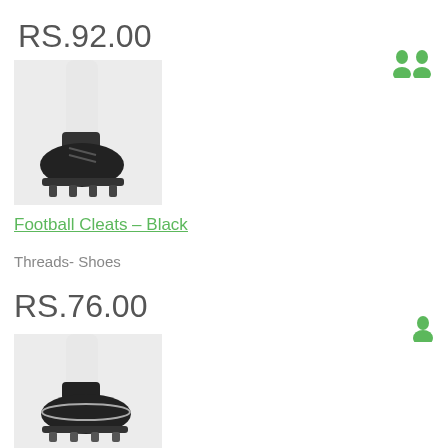RS.92.00
[Figure (photo): Black football cleat shoe on white leg/mannequin against white background]
Football Cleats - Black
Threads- Shoes
RS.76.00
[Figure (photo): Black and white football cleat shoe on white leg/mannequin against white background]
[Figure (illustration): Two green silhouette person/user icons in top right corner]
[Figure (illustration): One green silhouette person/user icon in bottom right corner]